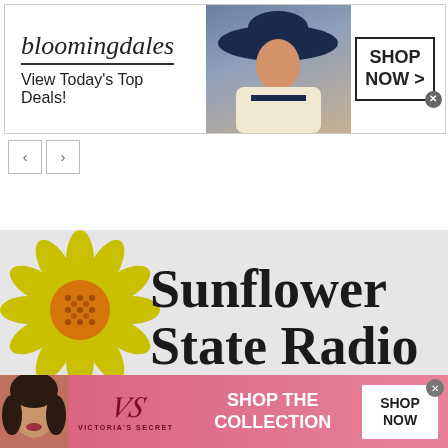[Figure (screenshot): Bloomingdale's advertisement banner: logo, tagline 'View Today's Top Deals!', model wearing large hat, 'SHOP NOW >' button]
[Figure (screenshot): Navigation left and right arrow buttons]
[Figure (logo): Sunflower State Radio logo with yellow sunflower graphic and bold serif text on grey background]
[Figure (screenshot): Victoria's Secret advertisement banner: model photo, VS logo/script, 'SHOP THE COLLECTION' text, 'SHOP NOW' white button on pink background]